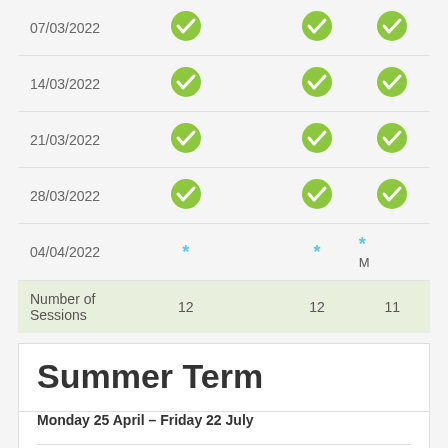| Week Commencing | School Tuition |  | FAME | Music Centre |
| --- | --- | --- | --- | --- |
| 07/03/2022 | ✓ |  | ✓ | ✓ |
| 14/03/2022 | ✓ |  | ✓ | ✓ |
| 21/03/2022 | ✓ |  | ✓ | ✓ |
| 28/03/2022 | ✓ |  | ✓ | ✓ |
| 04/04/2022 | * |  | * | * |
| Number of Sessions | 12 |  | 12 | 11 |
Summer Term
Monday 25 April – Friday 22 July
| Week Commencing | School Tuition | FAME | Music Centre |
| --- | --- | --- | --- |